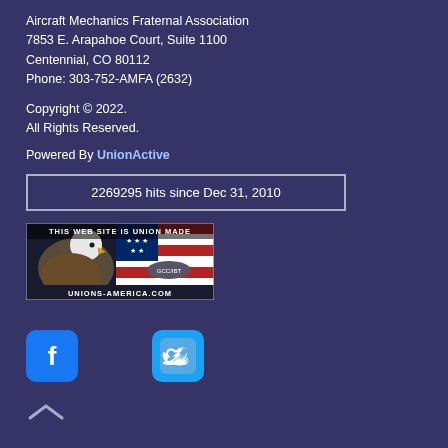Aircraft Mechanics Fraternal Association
7853 E. Arapahoe Court, Suite 1100
Centennial, CO 80112
Phone: 303-752-AMFA (2632)
Copyright © 2022.
All Rights Reserved.
Powered By UnionActive
2269295 hits since Dec 31, 2010
[Figure (logo): Unions-America.com badge showing a bald eagle with American flag and text: THIS WEB SITE IS UNION MADE, GCC/IBT, 1218-M, UNIONS-AMERICA.COM]
[Figure (logo): Facebook icon - blue rounded square with white F]
[Figure (logo): Twitter icon - light blue rounded square with white bird]
^